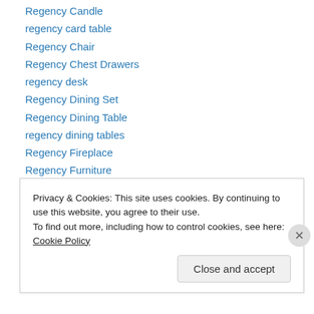Regency Candle
regency card table
Regency Chair
Regency Chest Drawers
regency desk
Regency Dining Set
Regency Dining Table
regency dining tables
Regency Fireplace
Regency Furniture
Regency Gilt Pier Mirror
Regency Lights
regency mirror
Regency Ornaly
Privacy & Cookies: This site uses cookies. By continuing to use this website, you agree to their use. To find out more, including how to control cookies, see here: Cookie Policy
Close and accept